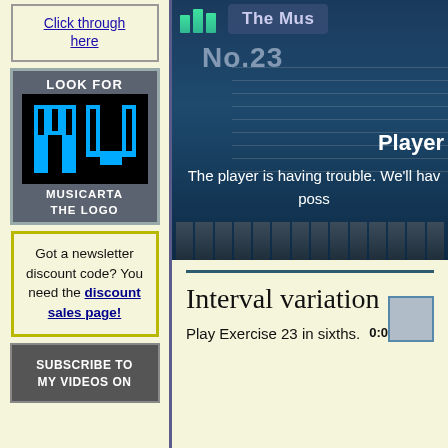Click through here
[Figure (logo): Musicarta logo: LOOK FOR text at top, blue MU block letter logo on black background, MUSICARTA THE LOGO text at bottom, on grey background]
Got a newsletter discount code? You need the discount sales page!
[Figure (screenshot): Music player interface showing 'The Mus...' title, No.23, Player error message: The player is having trouble. We'll have it fixed as soon as poss..., with piano keyboard at bottom]
[Figure (other): Subscribe to my videos on thumbnail area (grey box, partially visible)]
Interval variation
Play Exercise 23 in sixths.